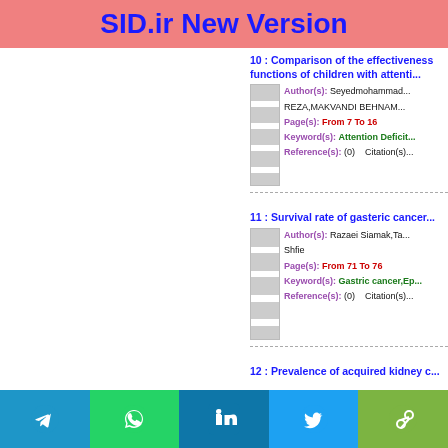SID.ir New Version
10 : Comparison of the effectiveness functions of children with attenti...
Author(s): Seyedmohammad... REZA,MAKVANDI BEHNAM...
Page(s): From 7 To 16
Keyword(s): Attention Deficit...
Reference(s): (0)   Citation(s)...
11 : Survival rate of gasteric cancer...
Author(s): Razaei Siamak,Ta... Shfie
Page(s): From 71 To 76
Keyword(s): Gastric cancer,Ep...
Reference(s): (0)   Citation(s)...
12 : Prevalence of acquired kidney c...